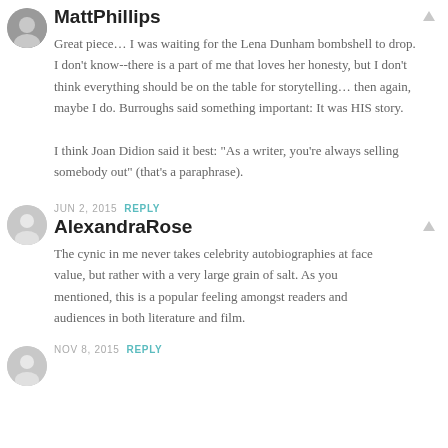MattPhillips
Great piece… I was waiting for the Lena Dunham bombshell to drop. I don't know--there is a part of me that loves her honesty, but I don't think everything should be on the table for storytelling… then again, maybe I do. Burroughs said something important: It was HIS story.

I think Joan Didion said it best: "As a writer, you're always selling somebody out" (that's a paraphrase).
JUN 2, 2015 REPLY
AlexandraRose
The cynic in me never takes celebrity autobiographies at face value, but rather with a very large grain of salt. As you mentioned, this is a popular feeling amongst readers and audiences in both literature and film.
NOV 8, 2015 REPLY